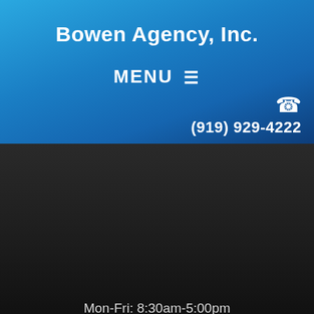Bowen Agency, Inc.
MENU ≡
(919) 929-4222
Mon-Fri: 8:30am-5:00pm
Sat-Sun: Closed
[Figure (infographic): Row of five blue social media icon buttons: map pin (Google Maps/location), Yelp, Facebook, Twitter, LinkedIn]